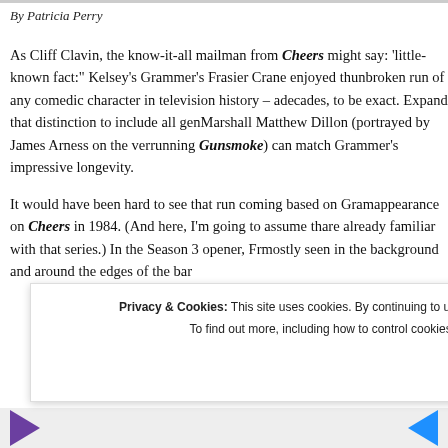By Patricia Perry
As Cliff Clavin, the know-it-all mailman from Cheers might say: 'little-known fact:' Kelsey's Grammer's Frasier Crane enjoyed the unbroken run of any comedic character in television history – a decades, to be exact. Expand that distinction to include all gen Marshall Matthew Dillon (portrayed by James Arness on the ver running Gunsmoke) can match Grammer's impressive longevity.
It would have been hard to see that run coming based on Gram appearance on Cheers in 1984. (And here, I'm going to assume th are already familiar with that series.) In the Season 3 opener, Fr mostly seen in the background and around the edges of the bar
Privacy & Cookies: This site uses cookies. By continuing to use this website, you agree to their use. To find out more, including how to control cookies, see here: Cookie Policy
Close and accept